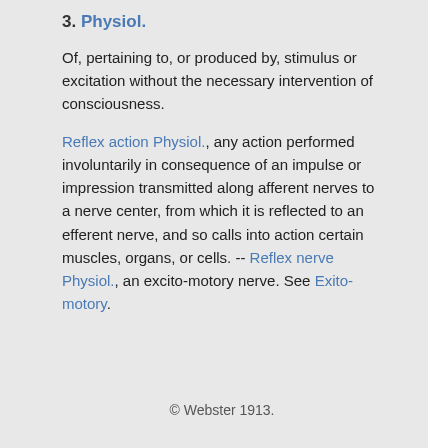3. Physiol.
Of, pertaining to, or produced by, stimulus or excitation without the necessary intervention of consciousness.
Reflex action Physiol., any action performed involuntarily in consequence of an impulse or impression transmitted along afferent nerves to a nerve center, from which it is reflected to an efferent nerve, and so calls into action certain muscles, organs, or cells. -- Reflex nerve Physiol., an excito-motory nerve. See Exito-motory.
© Webster 1913.